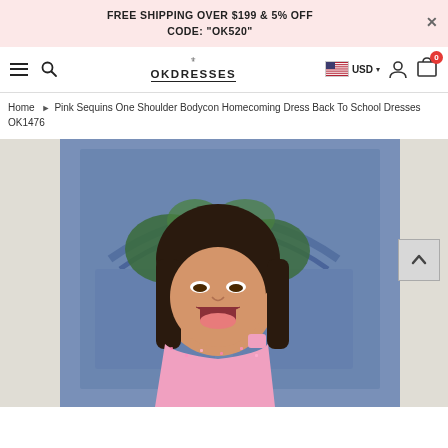FREE SHIPPING OVER $199 & 5% OFF CODE: "OK520"
[Figure (screenshot): OKDresses website navigation bar with hamburger menu, search icon, OKDRESSES logo, USD currency selector with US flag, user account icon, and cart icon showing 0 items]
Home ▶ Pink Sequins One Shoulder Bodycon Homecoming Dress Back To School Dresses OK1476
[Figure (photo): A young woman wearing a pink sequined one-shoulder bodycon dress, posing playfully with tongue out in front of a blue ornate door decorated with greenery/vines]